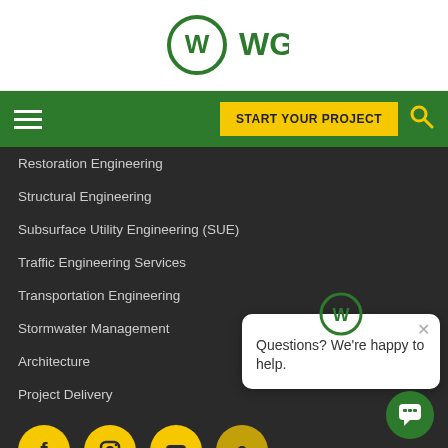[Figure (logo): WGI company logo — green circle with W and WGI text]
[Figure (screenshot): Green navigation bar with hamburger menu on left, yellow START YOUR PROJECT button and yellow search icon on right]
Restoration Engineering
Structural Engineering
Subsurface Utility Engineering (SUE)
Traffic Engineering Services
Transportation Engineering
Stormwater Management
Architecture
Project Delivery
[Figure (infographic): Row of yellow circular social media icons: Facebook, Instagram, YouTube, and one more partially visible]
[Figure (screenshot): Chat popup overlay with WGI logo at top, X close button, and text: Questions? We're happy to help.]
STAY CONNECTED
Sign up to receive emails to hear our latest news and